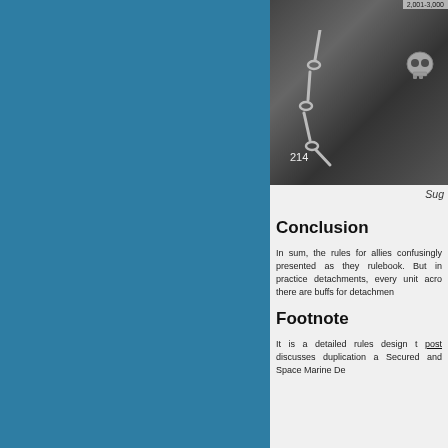[Figure (screenshot): Dark game screenshot showing a skeleton/chain figure on a stone floor, with a UI bar showing '2,001-3,000' and the number '214' in the lower left]
Sug
Conclusion
In sum, the rules for allies confusingly presented as they rulebook. But in practice detachments, every unit acro there are buffs for detachmen
Footnote
It is a detailed rules design t post discusses duplication a Secured and Space Marine De
Posted in rules and tactics | Tagged